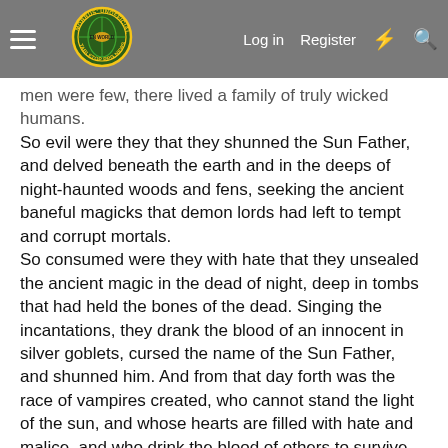Morrus' Unofficial Tabletop RPG News — Log in | Register
men were few, there lived a family of truly wicked humans. So evil were they that they shunned the Sun Father, and delved beneath the earth and in the deeps of night-haunted woods and fens, seeking the ancient baneful magicks that demon lords had left to tempt and corrupt mortals.
So consumed were they with hate that they unsealed the ancient magic in the dead of night, deep in tombs that had held the bones of the dead. Singing the incantations, they drank the blood of an innocent in silver goblets, cursed the name of the Sun Father, and shunned him. And from that day forth was the race of vampires created, who cannot stand the light of the sun, and whose hearts are filled with hate and malice, and who drink the blood of others to survive.
Wraith: ?
Zombie: ?